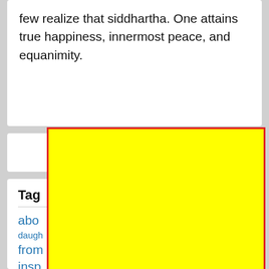few realize that siddhartha. One attains true happiness, innermost peace, and equanimity.
[Figure (screenshot): Close button with red border and rounded rectangle, yellow background, red text reading 'close']
Tags
abo...
daugh...  p
from...
insp...
love...
[Figure (screenshot): Yellow rectangle with red border overlaying the lower portion of the page, covering part of the tags section]